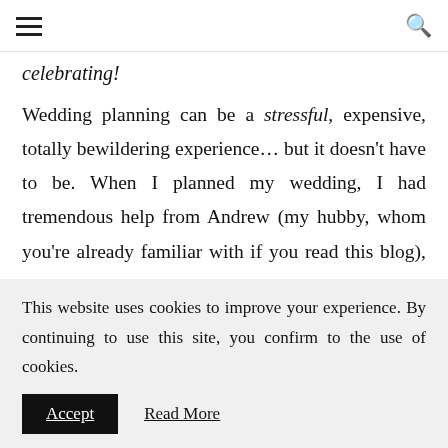≡  🔍
celebrating!
Wedding planning can be a stressful, expensive, totally bewildering experience… but it doesn't have to be. When I planned my wedding, I had tremendous help from Andrew (my hubby, whom you're already familiar with if you read this blog), as
This website uses cookies to improve your experience. By continuing to use this site, you confirm to the use of cookies.
Accept   Read More